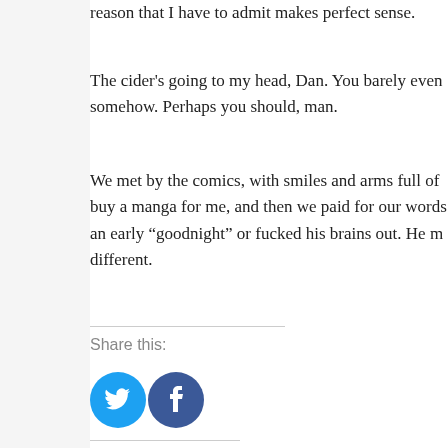reason that I have to admit makes perfect sense.
The cider's going to my head, Dan. You barely even somehow. Perhaps you should, man.
We met by the comics, with smiles and arms full of buy a manga for me, and then we paid for our words an early “goodnight” or fucked his brains out. He m different.
Share this:
[Figure (infographic): Two circular social media share buttons: Twitter (blue with bird icon) and Facebook (dark blue with f icon)]
Related
The Riddle of the Sphinx
September 8, 2015
In "Short Stories"
A Brief History O
August 12, 2016
In "Short Stori